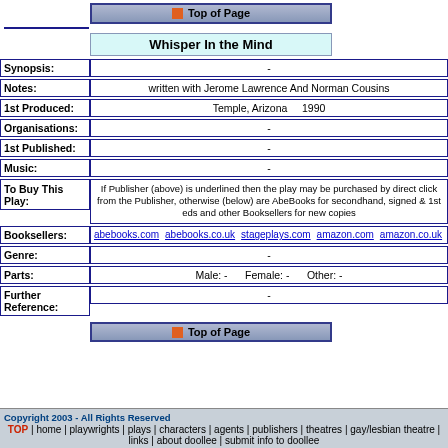[Figure (other): Top of Page navigation button with orange icon]
Whisper In the Mind
| Field | Value |
| --- | --- |
| Synopsis: | - |
| Notes: | written with Jerome Lawrence And Norman Cousins |
| 1st Produced: | Temple, Arizona    1990 |
| Organisations: | - |
| 1st Published: | - |
| Music: | - |
| To Buy This Play: | If Publisher (above) is underlined then the play may be purchased by direct click from the Publisher, otherwise (below) are AbeBooks for secondhand, signed & 1st eds and other Booksellers for new copies |
| Booksellers: | abebooks.com  abebooks.co.uk  stageplays.com  amazon.com  amazon.co.uk  am |
| Genre: | - |
| Parts: | Male: -    Female: -    Other: - |
| Further Reference: | - |
[Figure (other): Top of Page navigation button with orange icon]
Copyright 2003 - All Rights Reserved TOP | home | playwrights | plays | characters | agents | publishers | theatres | gay/lesbian theatre | links | about doollee | submit info to doollee